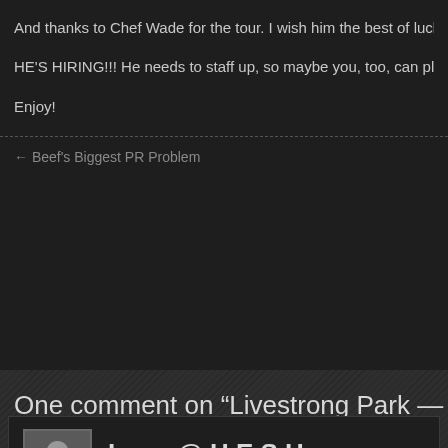And thanks to Chef Wade for the tour.  I wish him the best of luck
HE'S HIRING!!!  He needs to staff up, so maybe you, too, can play
Enjoy!
← Beef's Biggest PR Problem
One comment on “Livestrong Park —
Irene @ H.E.S.H.
on November 8, 2011 at 3:28 am said:
Without a doubt they are really serving great dishes. I love the fact that healthy options are in their menu. I hope one day I can eat here.